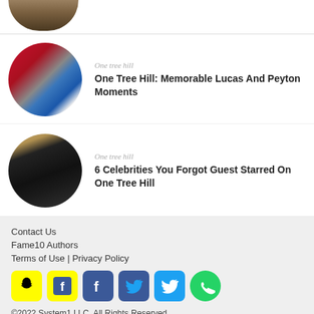[Figure (photo): Partial circular thumbnail of a person, cropped at top]
[Figure (photo): Circular thumbnail of cheerleaders/basketball players celebrating]
One tree hill
One Tree Hill: Memorable Lucas And Peyton Moments
[Figure (photo): Circular thumbnail of a young man with hands behind his head]
One tree hill
6 Celebrities You Forgot Guest Starred On One Tree Hill
Contact Us
Fame10 Authors
Terms of Use | Privacy Policy
©2022 System1 LLC. All Rights Reserved.